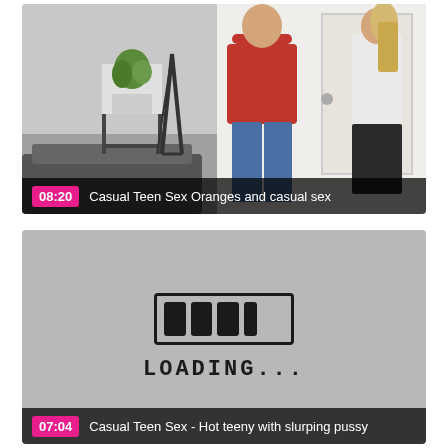[Figure (screenshot): Video thumbnail showing two people in a room, one in a red sweater and one in white. Overlay bar shows duration 08:20 and title 'Casual Teen Sex Oranges and casual sex']
[Figure (screenshot): Video thumbnail showing a grey loading screen with a hand-drawn loading bar icon and 'LOADING...' text. Overlay bar shows duration 07:04 and title 'Casual Teen Sex - Hot teeny with slurping pussy']